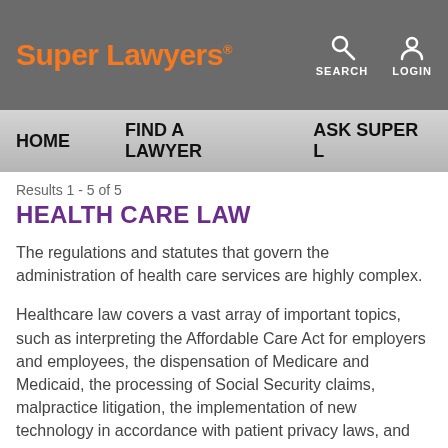Super Lawyers · SEARCH LOGIN
HOME   FIND A LAWYER   ASK SUPER L
Results 1 - 5 of 5
HEALTH CARE LAW
The regulations and statutes that govern the administration of health care services are highly complex.
Healthcare law covers a vast array of important topics, such as interpreting the Affordable Care Act for employers and employees, the dispensation of Medicare and Medicaid, the processing of Social Security claims, malpractice litigation, the implementation of new technology in accordance with patient privacy laws, and much more.
If you're a physician, patient, insurer, or work for a hospital or pharmaceutical company and you have questions about